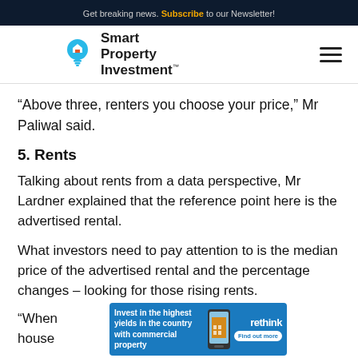Get breaking news. Subscribe to our Newsletter!
[Figure (logo): Smart Property Investment logo with lightbulb icon]
“Above three, renters you choose your price,” Mr Paliwal said.
5. Rents
Talking about rents from a data perspective, Mr Lardner explained that the reference point here is the advertised rental.
What investors need to pay attention to is the median price of the advertised rental and the percentage changes – looking for those rising rents.
[Figure (infographic): Advertisement banner: Invest in the highest yields in the country with commercial property. Rethink. Find out more.]
“When… group house…